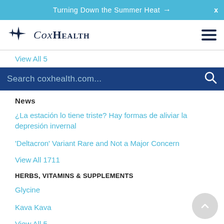Turning Down the Summer Heat →  X
[Figure (logo): CoxHealth logo with star/sparkle icon and stylized text]
View All 5
Search coxhealth.com...
News
¿La estación lo tiene triste? Hay formas de aliviar la depresión invernal
'Deltacron' Variant Rare and Not a Major Concern
View All 1711
HERBS, VITAMINS & SUPPLEMENTS
Glycine
Kava Kava
View All 5